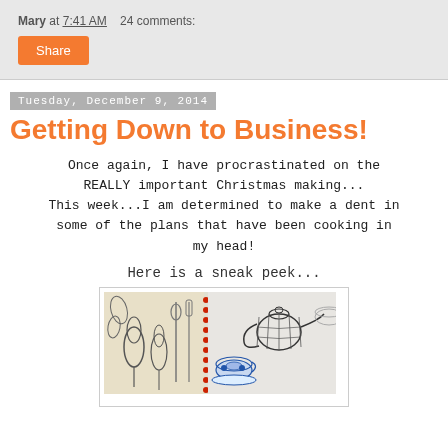Mary at 7:41 AM   24 comments:
Share
Tuesday, December 9, 2014
Getting Down to Business!
Once again, I have procrastinated on the REALLY important Christmas making...
This week...I am determined to make a dent in some of the plans that have been cooking in my head!
Here is a sneak peek...
[Figure (photo): A sneak peek photo showing two fabric panels side by side: left panel with monochrome botanical/tulip and cutlery design on beige background with red bead trim in center, right panel with blue and white teacup and teapot design on grey/white background.]